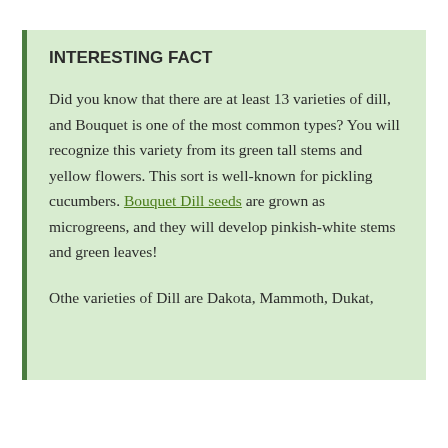INTERESTING FACT
Did you know that there are at least 13 varieties of dill, and Bouquet is one of the most common types? You will recognize this variety from its green tall stems and yellow flowers. This sort is well-known for pickling cucumbers. Bouquet Dill seeds are grown as microgreens, and they will develop pinkish-white stems and green leaves!
Othe varieties of Dill are Dakota, Mammoth, Dukat,